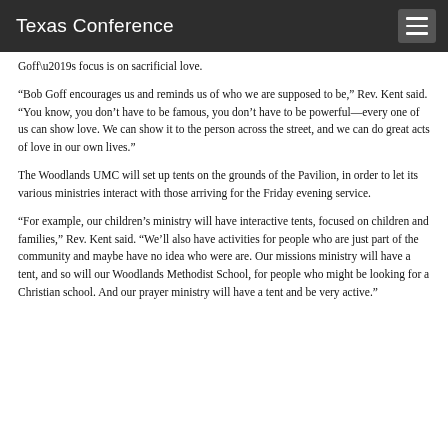Texas Conference
Goff’s focus is on sacrificial love.
“Bob Goff encourages us and reminds us of who we are supposed to be,” Rev. Kent said. “You know, you don’t have to be famous, you don’t have to be powerful—every one of us can show love. We can show it to the person across the street, and we can do great acts of love in our own lives.”
The Woodlands UMC will set up tents on the grounds of the Pavilion, in order to let its various ministries interact with those arriving for the Friday evening service.
“For example, our children’s ministry will have interactive tents, focused on children and families,” Rev. Kent said. “We’ll also have activities for people who are just part of the community and maybe have no idea who were are. Our missions ministry will have a tent, and so will our Woodlands Methodist School, for people who might be looking for a Christian school. And our prayer ministry will have a tent and be very active.”